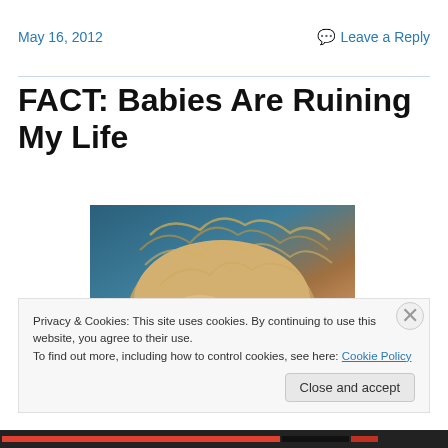May 16, 2012
Leave a Reply
FACT: Babies Are Ruining My Life
[Figure (photo): Close-up photo of top of a baby's head with messy blond hair against a dark blue background]
Privacy & Cookies: This site uses cookies. By continuing to use this website, you agree to their use.
To find out more, including how to control cookies, see here: Cookie Policy
Close and accept